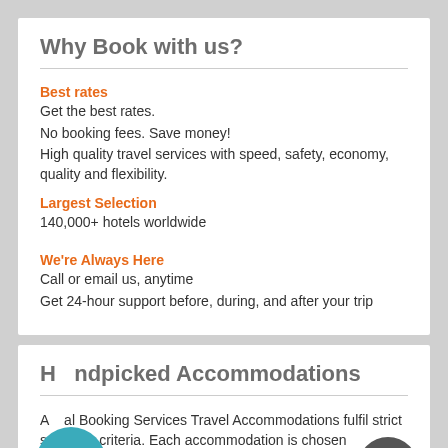Why Book with us?
Best rates
Get the best rates.
No booking fees. Save money!
High quality travel services with speed, safety, economy, quality and flexibility.
Largest Selection
140,000+ hotels worldwide
We're Always Here
Call or email us, anytime
Get 24-hour support before, during, and after your trip
Handpicked Accommodations
All Booking Services Travel Accommodations fulfil strict selection criteria. Each accommodation is chosen individually